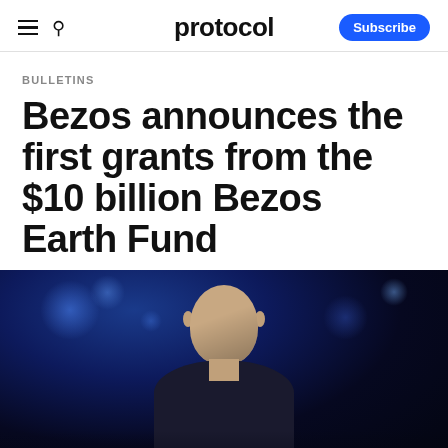protocol | Subscribe
BULLETINS
Bezos announces the first grants from the $10 billion Bezos Earth Fund
[Figure (photo): Photo of Jeff Bezos against a dark blue bokeh background, shown from the shoulders up, wearing dark clothing]